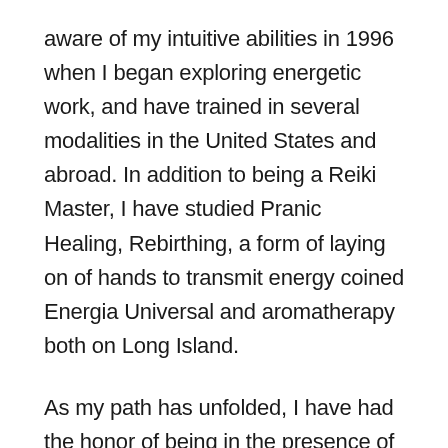aware of my intuitive abilities in 1996 when I began exploring energetic work, and have trained in several modalities in the United States and abroad. In addition to being a Reiki Master, I have studied Pranic Healing, Rebirthing, a form of laying on of hands to transmit energy coined Energia Universal and aromatherapy both on Long Island.
As my path has unfolded, I have had the honor of being in the presence of gifted individuals including shamans of different traditions, and have become increasingly psychic and in tune with energy systems. Additionally, I incorporate aromatherapy in